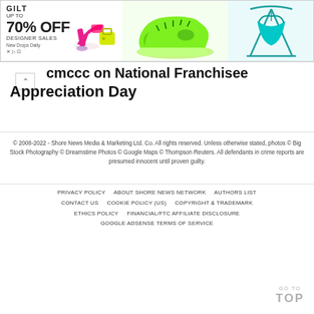[Figure (photo): Advertisement banner: Gilt 'Up to 70% OFF Designer Sales' ad with pink heels and yellow bag on left, neon green chunky sneaker in center, teal hanging chair on right]
...dmccc on National Franchise Appreciation Day
© 2008-2022 - Shore News Media & Marketing Ltd. Co. All rights reserved. Unless otherwise stated, photos © Big Stock Photography © Dreamstime Photos © Google Maps © Thompson Reuters. All defendants in crime reports are presumed innocent until proven guilty.
PRIVACY POLICY    ABOUT SHORE NEWS NETWORK    AUTHORS LIST    CONTACT US    COOKIE POLICY (US)    COPYRIGHT & TRADEMARK    ETHICS POLICY    FINANCIAL/FTC AFFILIATE DISCLOSURE    GOOGLE ADSENSE TERMS OF SERVICE
GO TO TOP